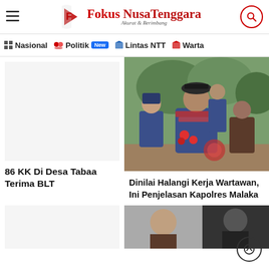Fokus Nusa Tenggara - Akurat & Berimbang
Nasional | Politik New | Lintas NTT | Warta
86 KK Di Desa Tabaa Terima BLT
[Figure (photo): Police officer in traditional attire seated outdoors with two other men]
Dinilai Halangi Kerja Wartawan, Ini Penjelasan Kapolres Malaka
[Figure (photo): Partially visible photo at bottom right]